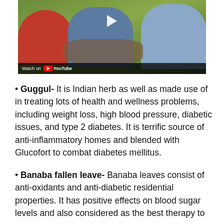[Figure (photo): Video thumbnail showing people sitting together, with a YouTube play button overlay and 'Watch on YouTube' bar at the bottom.]
Guggul- It is Indian herb as well as made use of in treating lots of health and wellness problems, including weight loss, high blood pressure, diabetic issues, and type 2 diabetes. It is terrific source of anti-inflammatory homes and blended with Glucofort to combat diabetes mellitus.
Banaba fallen leave- Banaba leaves consist of anti-oxidants and anti-diabetic residential properties. It has positive effects on blood sugar levels and also considered as the best therapy to